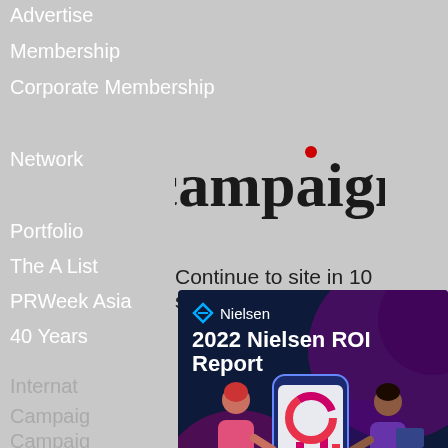Advertise
Membership
Corporate Membership
Network
Portfolio
The A List
PRWeek Asia
40 Years
Internat...
Campaig...
Campaig...
Campaig...
Campaig...
Campaig...
Campaig...
[Figure (logo): Campaign magazine logo in black serif font with a red dot above the letter i]
Continue to site in 10 second(s) Skip
[Figure (infographic): Nielsen 2022 ROI Report advertisement banner with dark navy background, showing two illustrated people interacting with a large smartphone displaying data charts. Purple and magenta decorative shapes in background. Download now button at bottom.]